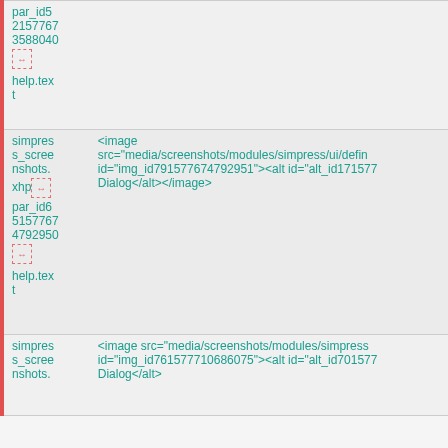| par_id5
2157767
3588040
[icon]
help.text |  |
| simpres
s_scree
nshots.
xhp[icon]
par_id6
5157767
4792950
[icon]
help.text | <image src="media/screenshots/modules/simpress/ui/defin id="img_id791577674792951"><alt id="alt_id171577 Dialog</alt></antml:image> |
| simpres
s_scree
nshots. | <image src="media/screenshots/modules/simpress id="img_id761577710686075"><alt id="alt_id701577 Dialog</alt> |